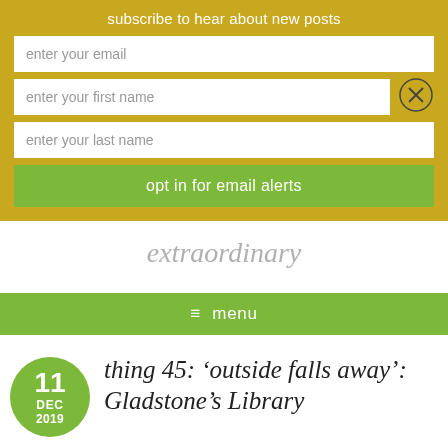subscribe to hear about new posts
enter your email
enter your first name
enter your last name
opt in for email alerts
extraordinary
≡  menu
thing 45: 'outside falls away': Gladstone's Library